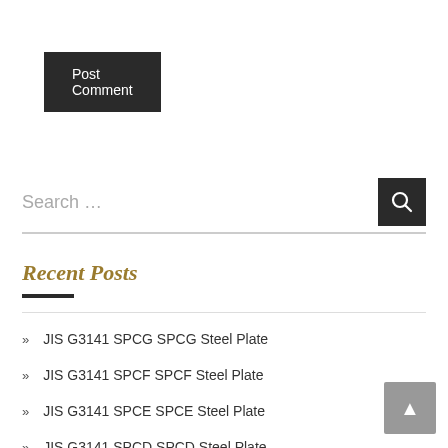Post Comment
Search …
Recent Posts
JIS G3141 SPCG SPCG Steel Plate
JIS G3141 SPCF SPCF Steel Plate
JIS G3141 SPCE SPCE Steel Plate
JIS G3141 SPCD SPCD Steel Plate